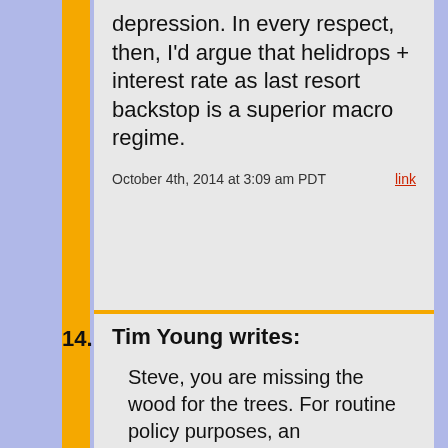depression. In every respect, then, I'd argue that helidrops + interest rate as last resort backstop is a superior macro regime.
October 4th, 2014 at 3:09 am PDT   link
14. Tim Young writes: Steve, you are missing the wood for the trees. For routine policy purposes, an